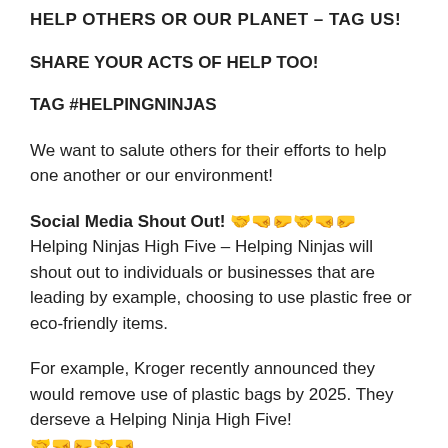HELP OTHERS OR OUR PLANET – TAG US!
SHARE YOUR ACTS OF HELP TOO!
TAG #HELPINGNINJAS
We want to salute others for their efforts to help one another or our environment!
Social Media Shout Out! 🤝🤜🤛🤝🤝🤜 Helping Ninjas High Five – Helping Ninjas will shout out to individuals or businesses that are leading by example, choosing to use plastic free or eco-friendly items.
For example, Kroger recently announced they would remove use of plastic bags by 2025. They derseve a Helping Ninja High Five! 🤝🤜🤛🤝🤝
If you, your family, your club, your classroom, friends at school,